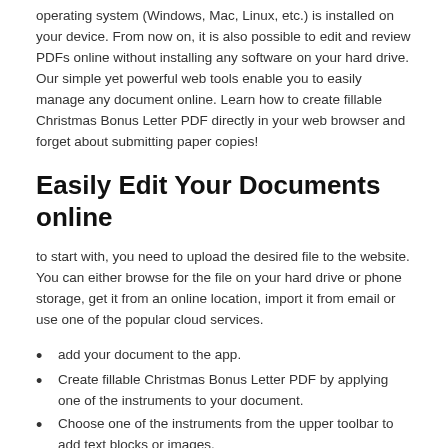operating system (Windows, Mac, Linux, etc.) is installed on your device. From now on, it is also possible to edit and review PDFs online without installing any software on your hard drive. Our simple yet powerful web tools enable you to easily manage any document online. Learn how to create fillable Christmas Bonus Letter PDF directly in your web browser and forget about submitting paper copies!
Easily Edit Your Documents online
to start with, you need to upload the desired file to the website. You can either browse for the file on your hard drive or phone storage, get it from an online location, import it from email or use one of the popular cloud services.
add your document to the app.
Create fillable Christmas Bonus Letter PDF by applying one of the instruments to your document.
Choose one of the instruments from the upper toolbar to add text blocks or images.
Erase existing text and remove media with the eraser tool.
Use the vertical toolbar on the right to insert fillable fields.
Create drop-down lists, signature fields, checkboxes, etc.
Click 'Done' to save changes and go to the dashboard.
Using our web app allows you to process your documents electronically from any internet-connected device. Try it today and get rid of paperwork hassles.